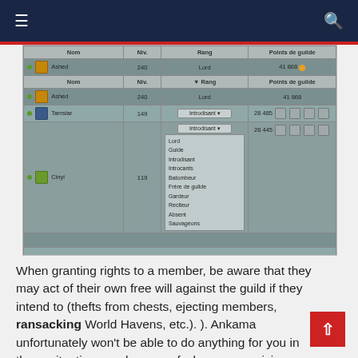≡  [navigation]  🔍
[Figure (screenshot): Game guild management interface screenshot showing a table with columns: Nom (Name), Niv (Level), Rang (Rank), Points de guilde (Guild Points). Rows show characters: Ashed (240, Lord, 41 868), Ashed (240, Lord, 41 868), Tamsiar (149, Introdisant dropdown), Cinyi (119, Introdisant dropdown). A rank dropdown menu is open showing options: Lord, Guide, Introdisant, Introcants, Batombeur, Frère de guilde, Gardeur, Reciteur, Absent, Sauvageons.]
When granting rights to a member, be aware that they may act of their own free will against the guild if they intend to (thefts from chests, ejecting members, ransacking World Havens, etc.). ). Ankama unfortunately won't be able to do anything for you in these situations, so be sure of who you are giving privileges to.